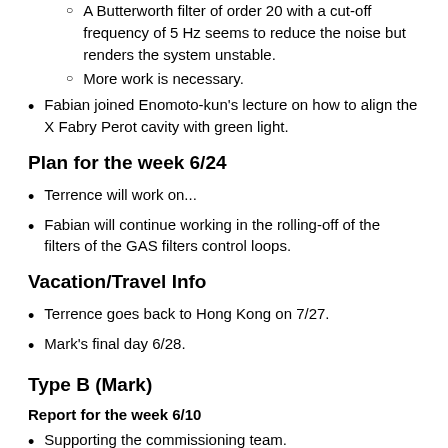A Butterworth filter of order 20 with a cut-off frequency of 5 Hz seems to reduce the noise but renders the system unstable.
More work is necessary.
Fabian joined Enomoto-kun's lecture on how to align the X Fabry Perot cavity with green light.
Plan for the week 6/24
Terrence will work on...
Fabian will continue working in the rolling-off of the filters of the GAS filters control loops.
Vacation/Travel Info
Terrence goes back to Hong Kong on 7/27.
Mark's final day 6/28.
Type B (Mark)
Report for the week 6/10
Supporting the commissioning team.